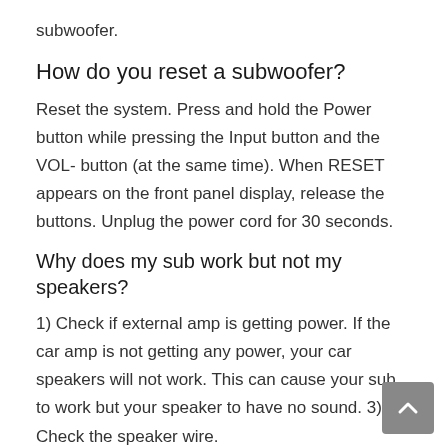subwoofer.
How do you reset a subwoofer?
Reset the system. Press and hold the Power button while pressing the Input button and the VOL- button (at the same time). When RESET appears on the front panel display, release the buttons. Unplug the power cord for 30 seconds.
Why does my sub work but not my speakers?
1) Check if external amp is getting power. If the car amp is not getting any power, your car speakers will not work. This can cause your sub to work but your speaker to have no sound. 3) Check the speaker wire.